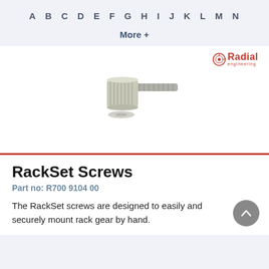A B C D E F G H I J K L M N
More +
[Figure (photo): Photo of a RackSet thumb screw — a knurled metal thumbscrew with threaded shaft and a small washer at the base, shown at an angle on a white background.]
RackSet Screws
Part no: R700 9104 00
The RackSet screws are designed to easily and securely mount rack gear by hand.